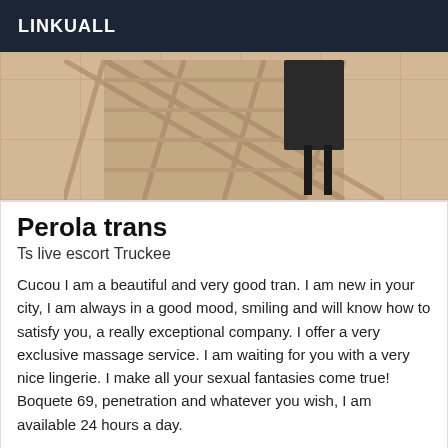LINKUALL
[Figure (photo): Partial view of a person wearing a patterned mesh/lace outfit standing on tiled floor]
Perola trans
Ts live escort Truckee
Cucou I am a beautiful and very good tran. I am new in your city, I am always in a good mood, smiling and will know how to satisfy you, a really exceptional company. I offer a very exclusive massage service. I am waiting for you with a very nice lingerie. I make all your sexual fantasies come true! Boquete 69, penetration and whatever you wish, I am available 24 hours a day.
Online